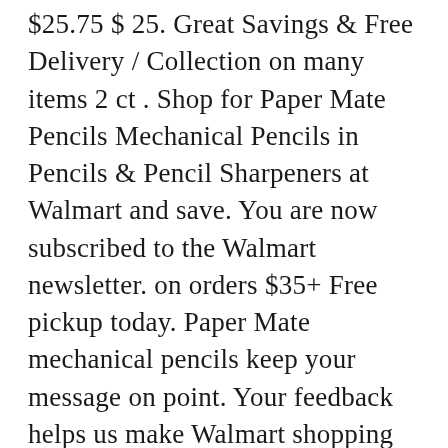$25.75 $ 25. Great Savings & Free Delivery / Collection on many items 2 ct . Shop for Paper Mate Pencils Mechanical Pencils in Pencils & Pencil Sharpeners at Walmart and save. You are now subscribed to the Walmart newsletter. on orders $35+ Free pickup today. Paper Mate mechanical pencils keep your message on point. Your feedback helps us make Walmart shopping better for millions of customers. Price. £3.40. Add to registry PEN RETRACTABLE PAPER MATE GEL ROLLER 0.7MM BLACK 12/pk. Paper mate Non Stop Orange Barrel Mechanical HB 0.7mm Pencils . Whether your child is returning to school ... Feature packed and ready to perform. The pencil comes equipped with a ... Paper Mate